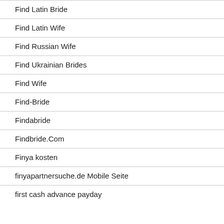Find Latin Bride
Find Latin Wife
Find Russian Wife
Find Ukrainian Brides
Find Wife
Find-Bride
Findabride
Findbride.Com
Finya kosten
finyapartnersuche.de Mobile Seite
first cash advance payday